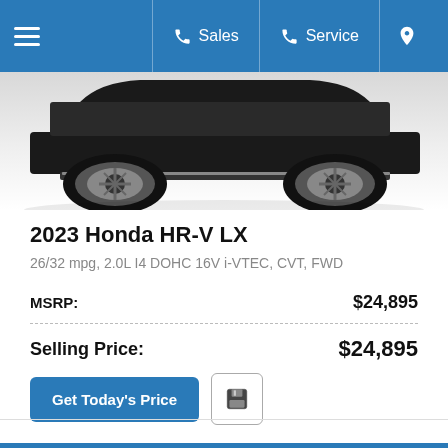Sales | Service
[Figure (photo): Partial view of a dark-colored Honda HR-V SUV showing the lower body, wheels, and running boards against a light gray background.]
2023 Honda HR-V LX
26/32 mpg, 2.0L I4 DOHC 16V i-VTEC, CVT, FWD
| Label | Price |
| --- | --- |
| MSRP: | $24,895 |
| Selling Price: | $24,895 |